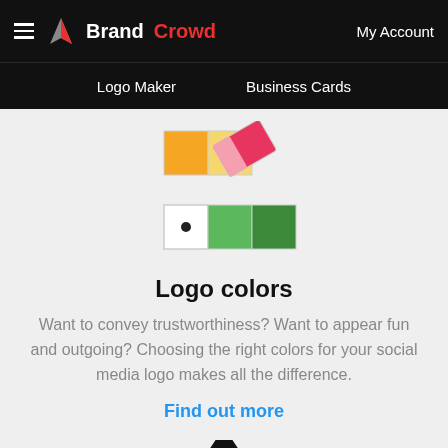BrandCrowd — My Account | Logo Maker | Business Cards
[Figure (illustration): Color swatch palette illustration with orange, yellow, pink/red diagonal eraser-like shape, white square with dot, and two green squares]
Logo colors
Want to convey trustworthiness? Want to appear fun and outgoing? Choosing the right colors for your social media logo makes all the difference.
Find out more
[Figure (illustration): Large black letter A typography illustration, partially visible at bottom of page]